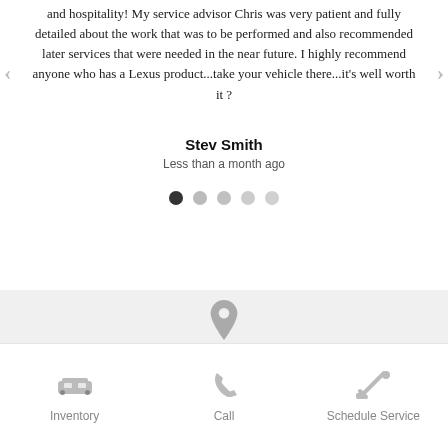and hospitality! My service advisor Chris was very patient and fully detailed about the work that was to be performed and also recommended later services that were needed in the near future. I highly recommend anyone who has a Lexus product...take your vehicle there...it's well worth it ?
Stev Smith
Less than a month ago
[Figure (other): Carousel navigation dots: 5 dots, first one dark/active, rest gray]
[Figure (other): Gray section with a location pin icon and 'VISIT US' text below it]
[Figure (other): Footer bar with three icons and labels: car icon (Inventory), phone icon (Call), wrench icon (Schedule Service)]